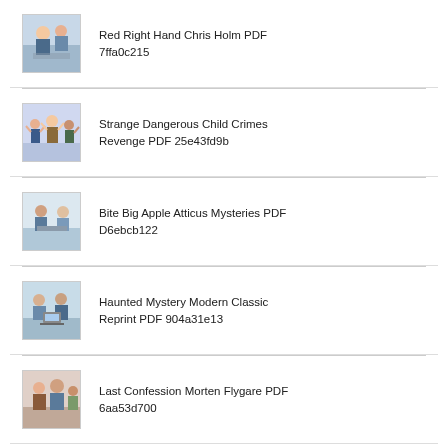Red Right Hand Chris Holm PDF 7ffa0c215
Strange Dangerous Child Crimes Revenge PDF 25e43fd9b
Bite Big Apple Atticus Mysteries PDF D6ebcb122
Haunted Mystery Modern Classic Reprint PDF 904a31e13
Last Confession Morten Flygare PDF 6aa53d700